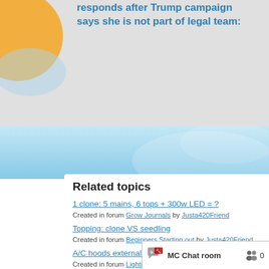responds after Trump campaign says she is not part of legal team:
Related topics
1 clone: 5 mains, 6 tops + 300w LED = ? — Created in forum Grow Journals by Justa420Friend
Topping: clone VS seedling — Created in forum Beginners Starting out by Justa420Friend
A/C hoods externally on top of cab — Created in forum Lighting by zipflip
Topping in flower?? — Created in forum Advanced Growing Techniques by ross
Plant Problems With Reasons And Solutions. — Created in forum Plant probems by ozzydiodude
SCROG (screen of green) — Created in forum Beginners Starting out
MC Chat room 0